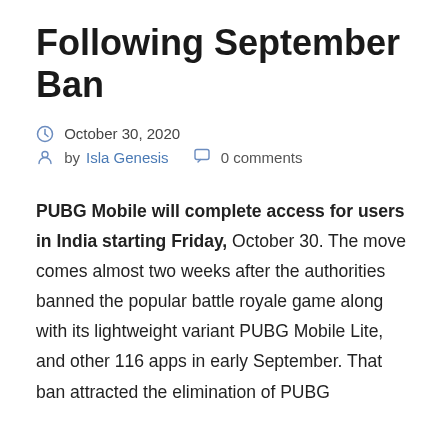Following September Ban
October 30, 2020
by Isla Genesis  0 comments
PUBG Mobile will complete access for users in India starting Friday, October 30. The move comes almost two weeks after the authorities banned the popular battle royale game along with its lightweight variant PUBG Mobile Lite, and other 116 apps in early September. That ban attracted the elimination of PUBG